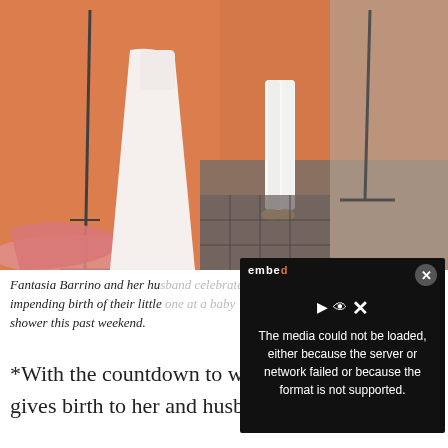[Figure (photo): Photo of Fantasia Barrino and her husband at a baby shower, wearing white outfits, standing in a warmly lit room with microphone stands visible in the background.]
Fantasia Barrino and her hu[sband celebrated the] impending birth of their little [one at a baby] shower this past weekend.
[Figure (screenshot): Video player error overlay on dark background reading: 'The media could not be loaded, either because the server or network failed or because the format is not supported.' with a close button and logo.]
*With the countdown to when Fantasia Barrino gives birth to her and husband Kendall Taylor's